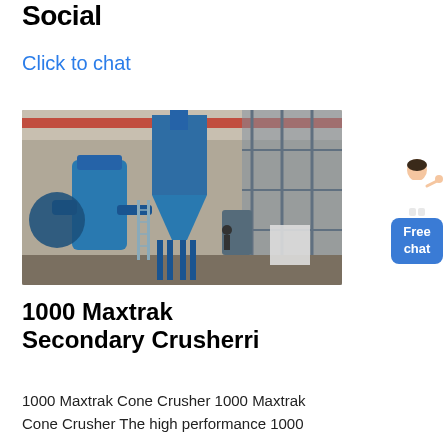Social
Click to chat
[Figure (photo): Industrial factory floor photo showing large blue cone crusher / dust collector equipment with scaffolding in the background]
Free chat
1000 Maxtrak Secondary Crusherri
1000 Maxtrak Cone Crusher 1000 Maxtrak Cone Crusher The high performance 1000